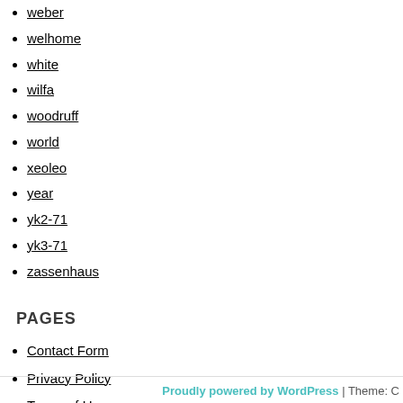weber
welhome
white
wilfa
woodruff
world
xeoleo
year
yk2-71
yk3-71
zassenhaus
PAGES
Contact Form
Privacy Policy
Terms of Use
Proudly powered by WordPress | Theme: C…